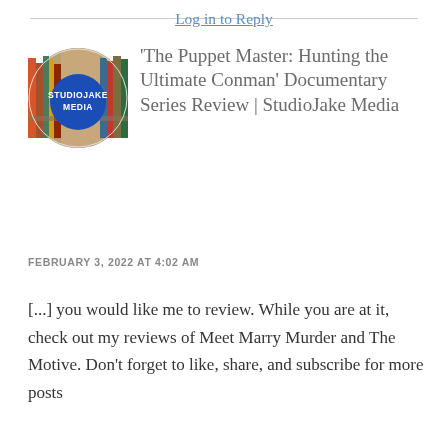Log in to Reply
[Figure (logo): Circular avatar/logo for StudioJake Media showing a bookstore background with a blue circle overlay containing white text 'STUDIOJAKE MEDIA']
'The Puppet Master: Hunting the Ultimate Conman' Documentary Series Review | StudioJake Media
FEBRUARY 3, 2022 AT 4:02 AM
[...] you would like me to review. While you are at it, check out my reviews of Meet Marry Murder and The Motive. Don't forget to like, share, and subscribe for more posts